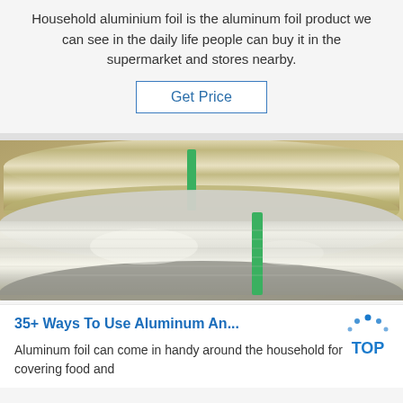Household aluminium foil is the aluminum foil product we can see in the daily life people can buy it in the supermarket and stores nearby.
Get Price
[Figure (photo): Large rolls of shiny aluminum foil stacked together, tied with green straps, photographed on a concrete floor.]
35+ Ways To Use Aluminum An...
Aluminum foil can come in handy around the household for covering food and